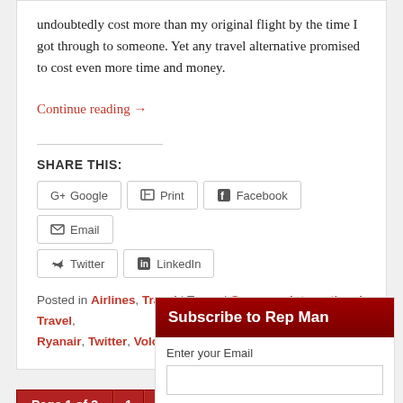undoubtedly cost more than my original flight by the time I got through to someone. Yet any travel alternative promised to cost even more time and money.
Continue reading →
SHARE THIS:
Google
Print
Facebook
Email
Twitter
LinkedIn
Posted in Airlines, Travel | Tagged Germany, International Travel, Ryanair, Twitter, Volcano, YouTube
Page 1 of 3  1  2  3
Subscribe to Rep Man
Enter your Email
Subscribe  Powered by FeedBlitz